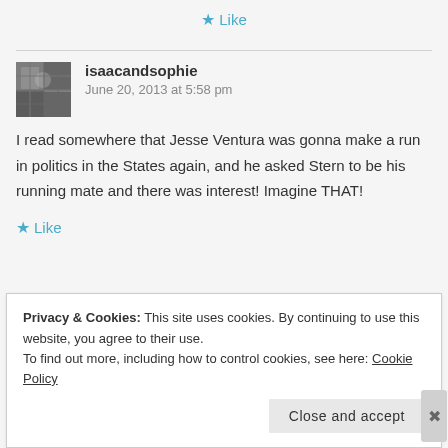Like
isaacandsophie
June 20, 2013 at 5:58 pm
I read somewhere that Jesse Ventura was gonna make a run in politics in the States again, and he asked Stern to be his running mate and there was interest! Imagine THAT!
Like
Privacy & Cookies: This site uses cookies. By continuing to use this website, you agree to their use.
To find out more, including how to control cookies, see here: Cookie Policy
Close and accept